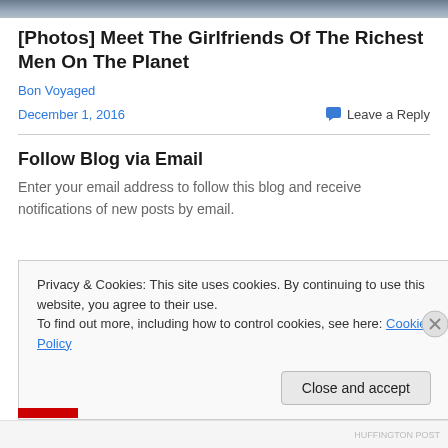[Figure (photo): Cropped top portion of a photo showing people, partially visible]
[Photos] Meet The Girlfriends Of The Richest Men On The Planet
Bon Voyaged
December 1, 2016
Leave a Reply
Follow Blog via Email
Enter your email address to follow this blog and receive notifications of new posts by email.
Privacy & Cookies: This site uses cookies. By continuing to use this website, you agree to their use.
To find out more, including how to control cookies, see here: Cookie Policy